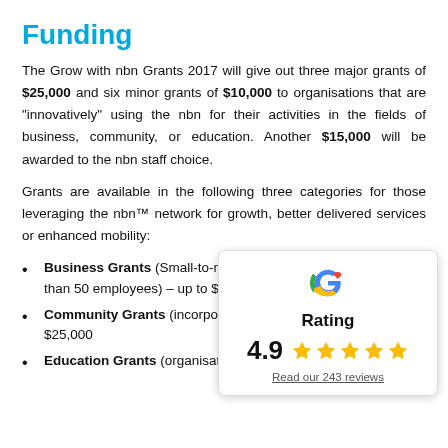Funding
The Grow with nbn Grants 2017 will give out three major grants of $25,000 and six minor grants of $10,000 to organisations that are "innovatively" using the nbn for their activities in the fields of business, community, or education. Another $15,000 will be awarded to the nbn staff choice.
Grants are available in the following three categories for those leveraging the nbn™ network for growth, better delivered services or enhanced mobility:
Business Grants (Small-to-medium businesses with fewer than 50 employees) – up to $25,000
Community Grants (incorporated organisations) – up to $25,000
Education Grants (organisations including RTO's, schools
[Figure (other): Google Rating popup overlay showing 4.9 stars and 'Read our 243 reviews' link]